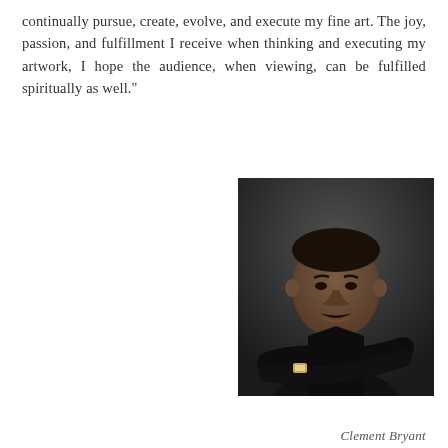continually pursue, create, evolve, and execute my fine art. The joy, passion, and fulfillment I receive when thinking and executing my artwork, I hope the audience, when viewing, can be fulfilled spiritually as well."
[Figure (photo): Portrait photograph of Clement Bryant, a man wearing a dark black shirt with arms crossed, wearing a watch, photographed against a dark grey background]
Clement Bryant